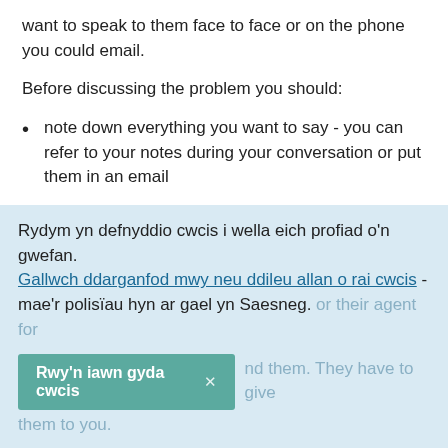want to speak to them face to face or on the phone you could email.
Before discussing the problem you should:
note down everything you want to say - you can refer to your notes during your conversation or put them in an email
Contact your nearest Citizens Advice to discuss the situation - they can check your legal rights and help you speak to your landlord
Rydym yn defnyddio cwcis i wella eich profiad o'n gwefan. Gallwch ddarganfod mwy neu ddileu allan o rai cwcis - mae'r polisïau hyn ar gael yn Saesneg.
or their agent for ... that manages the property ... nd them. They have to give them to you.
Rwy'n iawn gyda cwcis